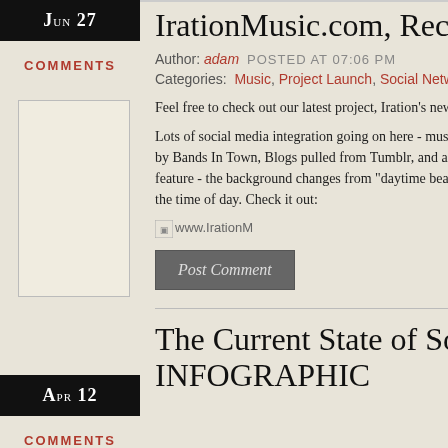Jun 27
COMMENTS
[Figure (other): Advertisement or image placeholder box]
IrationMusic.com, Recent
Author: adam   POSTED AT 07:06 PM
Categories: Music, Project Launch, Social Netw
Feel free to check out our latest project, Iration's new w
Lots of social media integration going on here - music by Bands In Town, Blogs pulled from Tumblr, and a Fa feature - the background changes from "daytime beach the time of day. Check it out:
[Figure (screenshot): www.IrationM image link thumbnail]
Post Comment
Apr 12
COMMENTS
The Current State of Soc INFOGRAPHIC